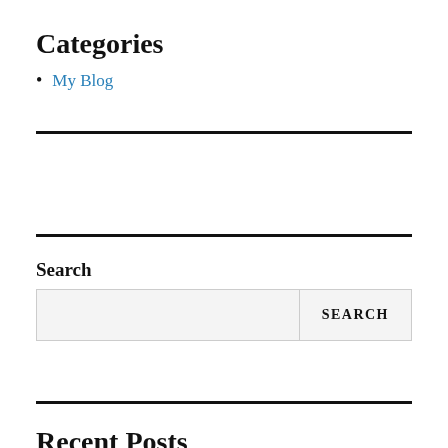Categories
My Blog
Search
Recent Posts